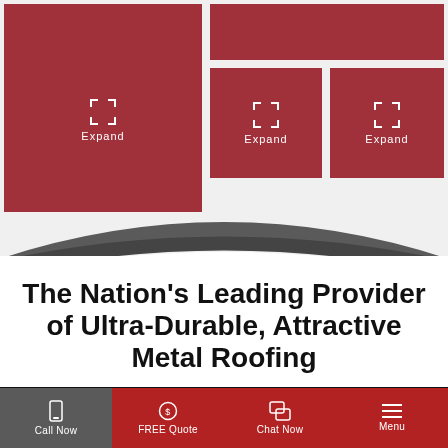[Figure (screenshot): Gallery of four dark red image panels with expand icons. Top-left is a large panel with expand icon and label. Top-right shows a narrow red bar and two smaller panels side by side each with expand icons.]
The Nation's Leading Provider of Ultra-Durable, Attractive Metal Roofing
[Figure (photo): Dark/black horizontal image band below the title.]
Call Now | FREE Quote | Chat Now | Menu